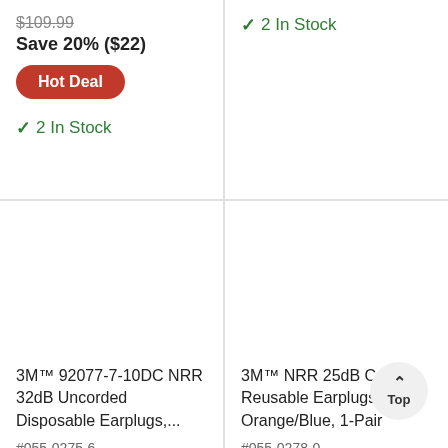$109.99
Save 20% ($22)
Hot Deal
✓ 2 In Stock
✓ 2 In Stock
3M™ 92077-7-10DC NRR 32dB Uncorded Disposable Earplugs,...
#055-0275-6
3M™ NRR 25dB Corded Reusable Earplugs, Orange/Blue, 1-Pair
#055-0278-0